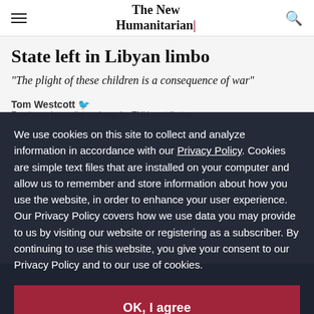The New Humanitarian
State left in Libyan limbo
“The plight of these children is a consequence of war”
Tom Westcott
Freelance journalist and regular TNH contributor
We use cookies on this site to collect and analyze information in accordance with our Privacy Policy. Cookies are simple text files that are installed on your computer and allow us to remember and store information about how you use the website, in order to enhance your user experience. Our Privacy Policy covers how we use data you may provide to us by visiting our website or registering as a subscriber. By continuing to use this website, you give your consent to our Privacy Policy and to our use of cookies.
OK, I agree